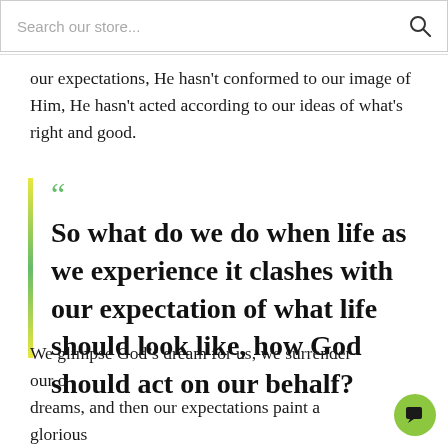Search our store...
our expectations, He hasn't conformed to our image of Him, He hasn't acted according to our ideas of what's right and good.
So what do we do when life as we experience it clashes with our expectation of what life should look like, how God should act on our behalf?
We glimpse God's dream for us, we surrender our o... dreams, and then our expectations paint a glorious